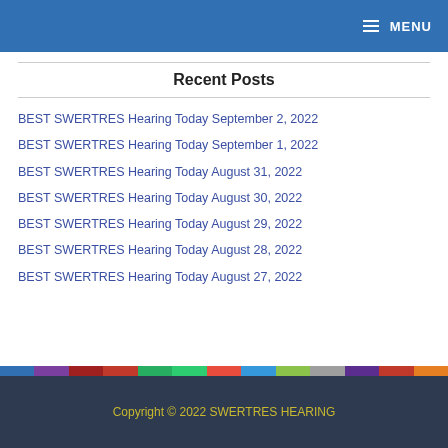MENU
Recent Posts
BEST SWERTRES Hearing Today September 2, 2022
BEST SWERTRES Hearing Today September 1, 2022
BEST SWERTRES Hearing Today August 31, 2022
BEST SWERTRES Hearing Today August 30, 2022
BEST SWERTRES Hearing Today August 29, 2022
BEST SWERTRES Hearing Today August 28, 2022
BEST SWERTRES Hearing Today August 27, 2022
Copyright © 2022 SWERTRES HEARING